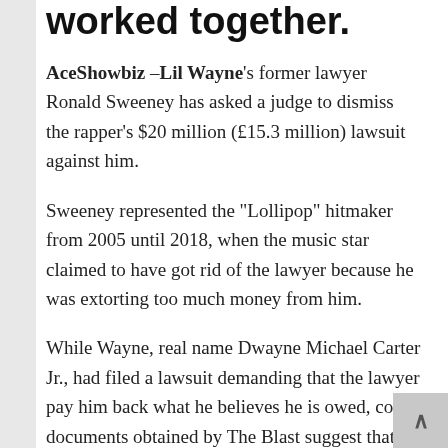worked together.
AceShowbiz –Lil Wayne's former lawyer Ronald Sweeney has asked a judge to dismiss the rapper's $20 million (£15.3 million) lawsuit against him.
Sweeney represented the “Lollipop” hitmaker from 2005 until 2018, when the music star claimed to have got rid of the lawyer because he was extorting too much money from him.
While Wayne, real name Dwayne Michael Carter Jr., had filed a lawsuit demanding that the lawyer pay him back what he believes he is owed, court documents obtained by The Blast suggest that Sweeney is now asking the judge to dismiss the case.